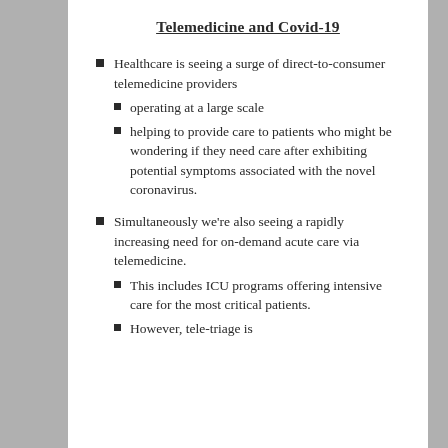Telemedicine and Covid-19
Healthcare is seeing a surge of direct-to-consumer telemedicine providers
operating at a large scale
helping to provide care to patients who might be wondering if they need care after exhibiting potential symptoms associated with the novel coronavirus.
Simultaneously we're also seeing a rapidly increasing need for on-demand acute care via telemedicine.
This includes ICU programs offering intensive care for the most critical patients.
However, tele-triage is…